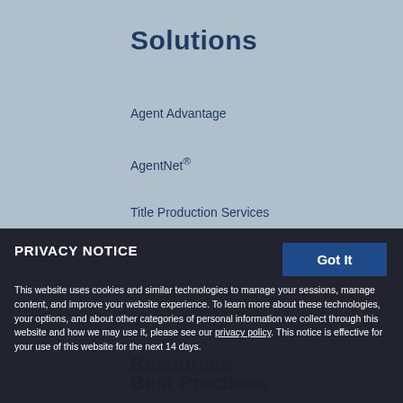Solutions
Agent Advantage
AgentNet®
Title Production Services
Resources
Best Practices
PRIVACY NOTICE
This website uses cookies and similar technologies to manage your sessions, manage content, and improve your website experience. To learn more about these technologies, your options, and about other categories of personal information we collect through this website and how we may use it, please see our privacy policy. This notice is effective for your use of this website for the next 14 days.